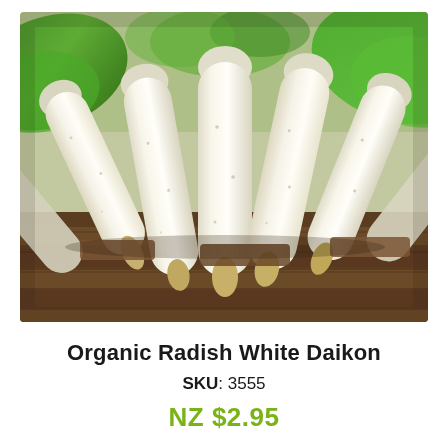[Figure (photo): Photograph of organic white daikon radishes bundled together on a rustic wooden surface, with green leafy tops visible, shot outdoors in natural light.]
Organic Radish White Daikon
SKU: 3555
NZ $2.95